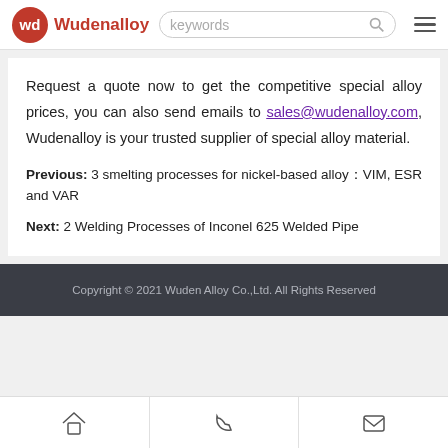Wudenalloy — keywords search bar — menu icon
Request a quote now to get the competitive special alloy prices, you can also send emails to sales@wudenalloy.com, Wudenalloy is your trusted supplier of special alloy material.
Previous: 3 smelting processes for nickel-based alloy：VIM, ESR and VAR
Next: 2 Welding Processes of Inconel 625 Welded Pipe
Copyright © 2021 Wuden Alloy Co.,Ltd. All Rights Reserved